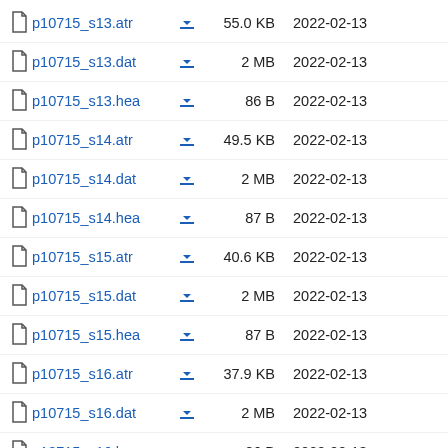p10715_s13.atr  55.0 KB  2022-02-13
p10715_s13.dat  2 MB  2022-02-13
p10715_s13.hea  86 B  2022-02-13
p10715_s14.atr  49.5 KB  2022-02-13
p10715_s14.dat  2 MB  2022-02-13
p10715_s14.hea  87 B  2022-02-13
p10715_s15.atr  40.6 KB  2022-02-13
p10715_s15.dat  2 MB  2022-02-13
p10715_s15.hea  87 B  2022-02-13
p10715_s16.atr  37.9 KB  2022-02-13
p10715_s16.dat  2 MB  2022-02-13
p10715_s16.hea  86 B  2022-02-13
p10715_s17.atr  40.5 KB  2022-02-13
p10715_s17.dat  2 MB  2022-02-13